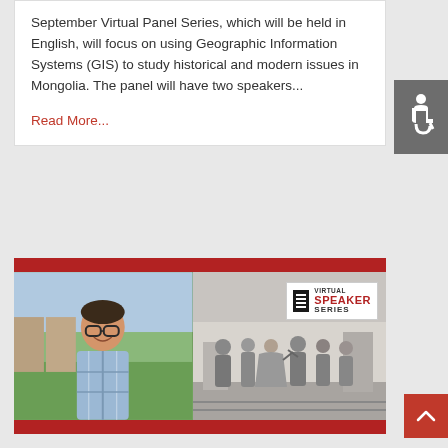September Virtual Panel Series, which will be held in English, will focus on using Geographic Information Systems (GIS) to study historical and modern issues in Mongolia. The panel will have two speakers...
Read More...
[Figure (photo): Composite image with a red bar at top and bottom. Left half shows a young man smiling outdoors with a castle/fortress wall in the background. Right half shows a historical black-and-white photo of a group of people gathered together. A 'Virtual Speaker Series' badge/logo is overlaid in the upper right area of the image.]